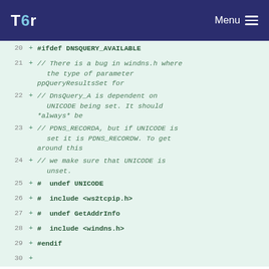Tor — Menu
[Figure (screenshot): Code diff view showing lines 20-32 of a C++ file with added lines (green background) showing #ifdef DNSQUERY_AVAILABLE block with comments about UNICODE bug in windns.h, undef/include directives, and #endif, followed by unchanged namespace declarations.]